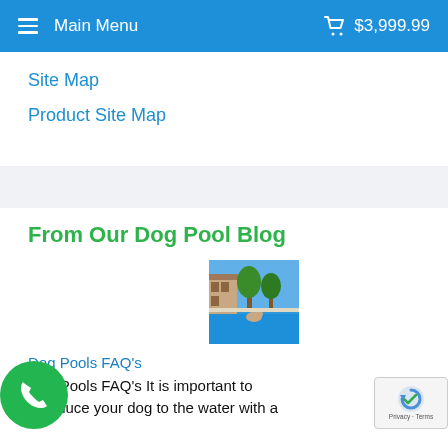Main Menu   $3,999.99
Site Map
Product Site Map
From Our Dog Pool Blog
[Figure (photo): Thumbnail photo of a dog pool with blue water and buildings in background]
Dog Pools FAQ's
Dog Pools FAQ's It is important to introduce your dog to the water with a